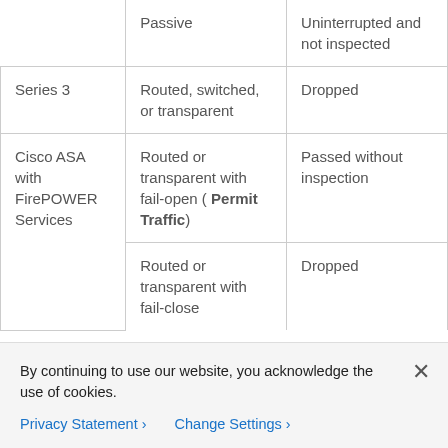|  | Passive | Uninterrupted and not inspected |
| Series 3 | Routed, switched, or transparent | Dropped |
| Cisco ASA with FirePOWER Services | Routed or transparent with fail-open ( Permit Traffic) | Passed without inspection |
|  | Routed or transparent with fail-close | Dropped |
By continuing to use our website, you acknowledge the use of cookies.
Privacy Statement > Change Settings >